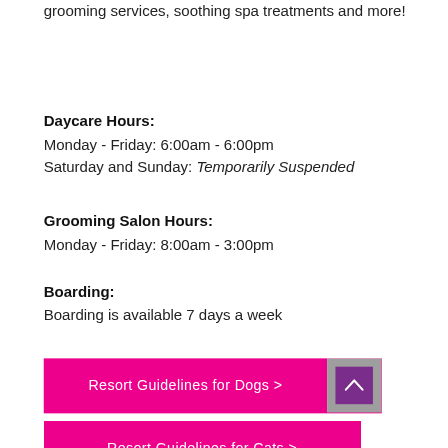grooming services, soothing spa treatments and more!
Daycare Hours:
Monday - Friday: 6:00am - 6:00pm
Saturday and Sunday: Temporarily Suspended
Grooming Salon Hours:
Monday - Friday: 8:00am - 3:00pm
Boarding:
Boarding is available 7 days a week
[Figure (screenshot): Pink button labeled 'Resort Guidelines for Dogs >' with a purple/grey scroll-to-top button overlay]
[Figure (screenshot): Pink button labeled 'Resort Guidelines for Cats >']
[Figure (screenshot): Partial orange button visible at bottom of page]